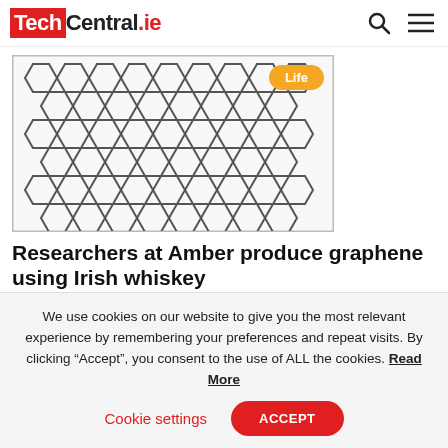TechCentral.ie
[Figure (illustration): Graphene hexagonal lattice structure illustration with 'Life' badge overlay]
Researchers at Amber produce graphene using Irish whiskey
Scientists discover new way to exfoliate the highly diverse material
We use cookies on our website to give you the most relevant experience by remembering your preferences and repeat visits. By clicking “Accept”, you consent to the use of ALL the cookies. Read More
Cookie settings  ACCEPT